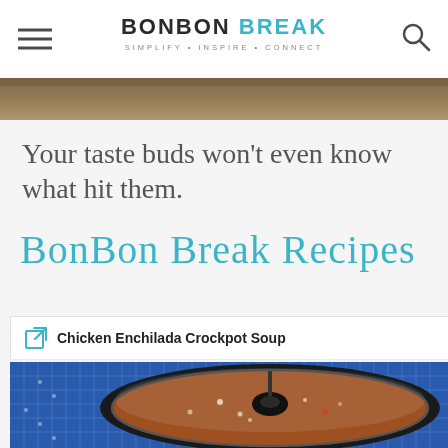BONBON BREAK — SIMPLIFY • INSPIRE • CONNECT
[Figure (photo): Partial top strip of a food/outdoor photo, brownish tones]
Your taste buds won't even know what hit them.
BonBon Break Recipes
Chicken Enchilada Crockpot Soup
[Figure (photo): Top-down view of a crockpot with glass lid showing chicken enchilada soup with vegetables on a blue checkered cloth]